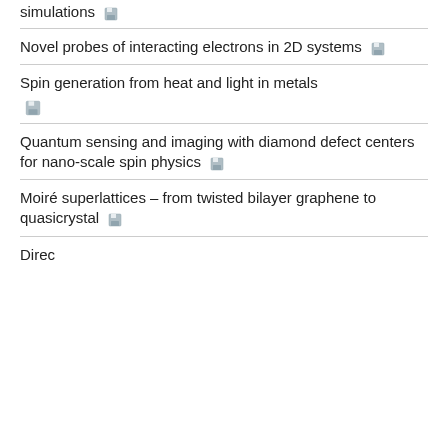simulations
Novel probes of interacting electrons in 2D systems
Spin generation from heat and light in metals
Quantum sensing and imaging with diamond defect centers for nano-scale spin physics
Moiré superlattices – from twisted bilayer graphene to quasicrystal
Direc...